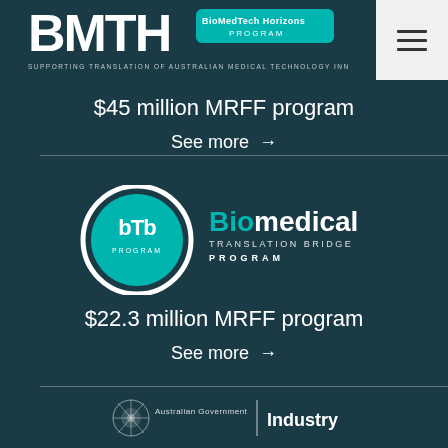[Figure (logo): BMTH BioMedTech Horizons Program logo with text: SUPPORTING TRANSLATION OF AUSTRALIAN MEDICAL TECHNOLOGY INNOVATION]
[Figure (logo): Hamburger menu button (three horizontal lines) on light background]
$45 million MRFF program
See more →
[Figure (logo): bTb Biomedical Translation Bridge Program logo - circular teal logo with bTb text on left, Biomedical Translation Bridge Program text on right]
$22.3 million MRFF program
See more →
[Figure (logo): Australian Government | Industry footer logo (partially visible)]